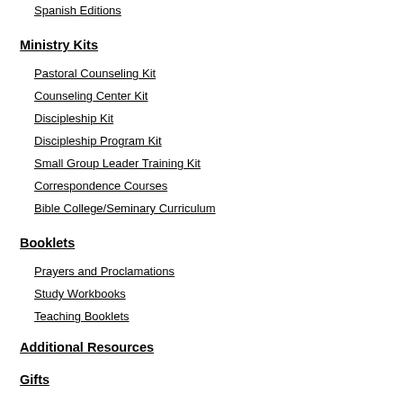Spanish Editions
Ministry Kits
Pastoral Counseling Kit
Counseling Center Kit
Discipleship Kit
Discipleship Program Kit
Small Group Leader Training Kit
Correspondence Courses
Bible College/Seminary Curriculum
Booklets
Prayers and Proclamations
Study Workbooks
Teaching Booklets
Additional Resources
Gifts
Christian Jewelry